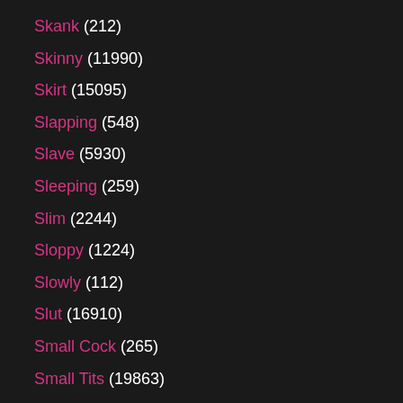Skank (212)
Skinny (11990)
Skirt (15095)
Slapping (548)
Slave (5930)
Sleeping (259)
Slim (2244)
Sloppy (1224)
Slowly (112)
Slut (16910)
Small Cock (265)
Small Tits (19863)
Smoking (1288)
Smooth (184)
Smothering (238)